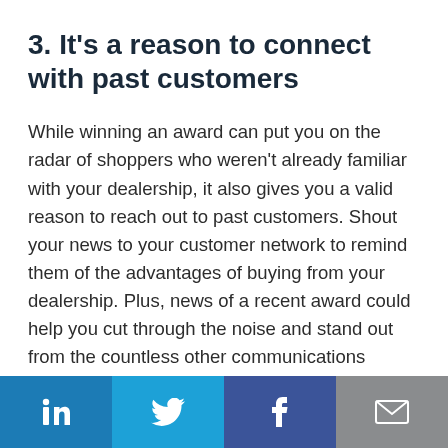3. It's a reason to connect with past customers
While winning an award can put you on the radar of shoppers who weren't already familiar with your dealership, it also gives you a valid reason to reach out to past customers. Shout your news to your customer network to remind them of the advantages of buying from your dealership. Plus, news of a recent award could help you cut through the noise and stand out from the countless other communications shoppers receive each day.
Social share bar: LinkedIn, Twitter, Facebook, Email